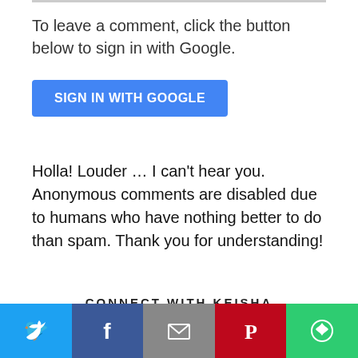To leave a comment, click the button below to sign in with Google.
[Figure (screenshot): Blue button labeled SIGN IN WITH GOOGLE]
Holla! Louder … I can't hear you. Anonymous comments are disabled due to humans who have nothing better to do than spam. Thank you for understanding!
CONNECT WITH KEISHA
[Figure (screenshot): Social share bar with Twitter, Facebook, Email, Pinterest, and More options buttons]